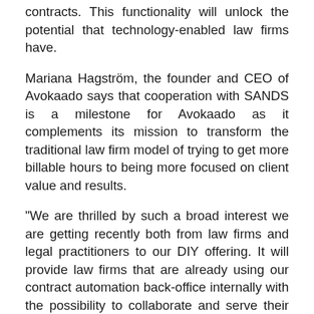contracts. This functionality will unlock the potential that technology-enabled law firms have.
Mariana Hagström, the founder and CEO of Avokaado says that cooperation with SANDS is a milestone for Avokaado as it complements its mission to transform the traditional law firm model of trying to get more billable hours to being more focused on client value and results.
“We are thrilled by such a broad interest we are getting recently both from law firms and legal practitioners to our DIY offering. It will provide law firms that are already using our contract automation back-office internally with the possibility to collaborate and serve their clients digitally. DIY contract portal is a great opportunity to fuel the growth of the legal practice, give more value to the existing clients and to win their loyalty.” added